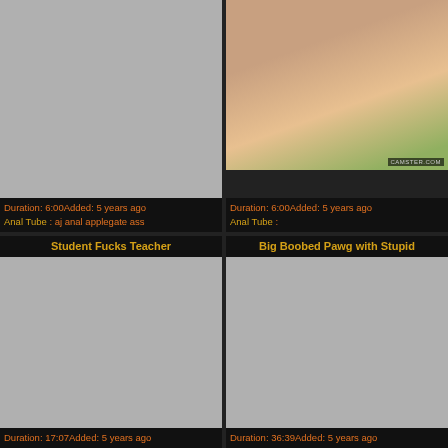[Figure (screenshot): Video thumbnail placeholder (gray) top-left, no title]
Duration: 6:00Added: 5 years ago
Anal Tube : aj anal applegate ass
[Figure (photo): Video thumbnail top-right showing adult content photo with camster.com watermark]
Duration: 6:00Added: 5 years ago
Anal Tube :
Student Fucks Teacher
[Figure (screenshot): Video thumbnail placeholder (gray) bottom-left]
Duration: 17:07Added: 5 years ago
Big Boobed Pawg with Stupid
[Figure (screenshot): Video thumbnail placeholder (gray) bottom-right]
Duration: 36:39Added: 5 years ago